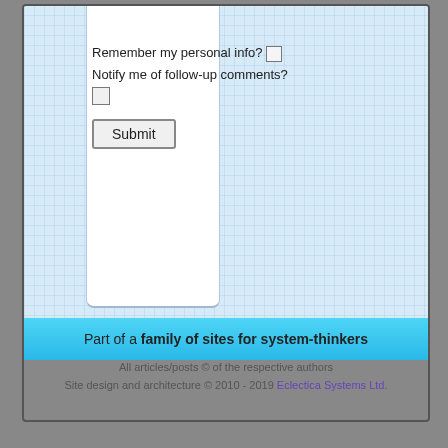Remember my personal info?
Notify me of follow-up comments?
Submit
Part of a family of sites for system-thinkers
All articles/posts © of the respective authors
Site design and architecture © 2010 - 2019 Eclectica Systems Ltd.